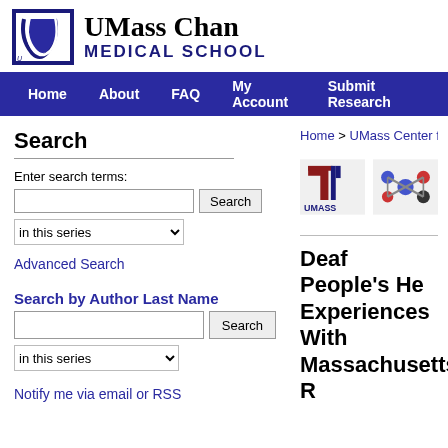[Figure (logo): UMass Chan Medical School logo with blue and white U graphic and bold text]
Home  About  FAQ  My Account  Submit Research
Search
Enter search terms:
in this series
Advanced Search
Search by Author Last Name
in this series
Notify me via email or RSS
Home > UMass Center for Clinical a
[Figure (logo): UMass logo (maroon) and a blue/red/black molecular cluster icon]
Deaf People's He Experiences With Massachusetts R